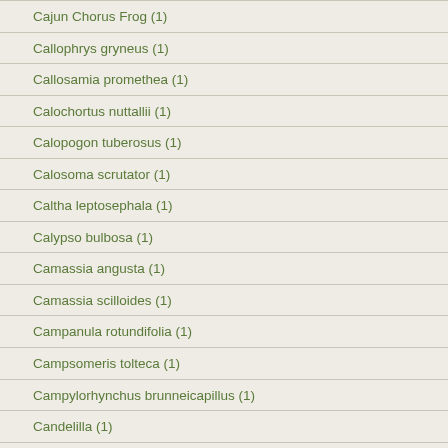Cajun Chorus Frog (1)
Callophrys gryneus (1)
Callosamia promethea (1)
Calochortus nuttallii (1)
Calopogon tuberosus (1)
Calosoma scrutator (1)
Caltha leptosephala (1)
Calypso bulbosa (1)
Camassia angusta (1)
Camassia scilloides (1)
Campanula rotundifolia (1)
Campsomeris tolteca (1)
Campylorhynchus brunneicapillus (1)
Candelilla (1)